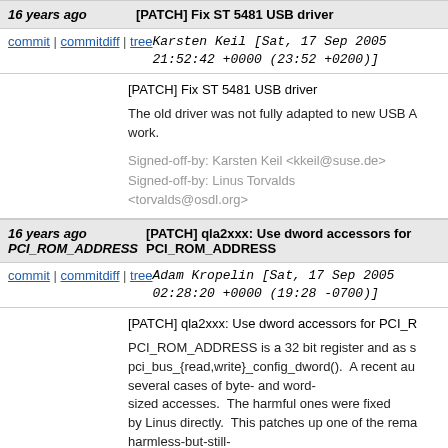16 years ago | [PATCH] Fix ST 5481 USB driver
commit | commitdiff | tree   Karsten Keil [Sat, 17 Sep 2005 21:52:42 +0000 (23:52 +0200)]
[PATCH] Fix ST 5481 USB driver

The old driver was not fully adapted to new USB A work.

Signed-off-by: Karsten Keil <kkeil@suse.de>
Signed-off-by: Linus Torvalds <torvalds@osdl.org>
16 years ago | [PATCH] qla2xxx: Use dword accessors for PCI_ROM_ADDRESS
commit | commitdiff | tree   Adam Kropelin [Sat, 17 Sep 2005 02:28:20 +0000 (19:28 -0700)]
[PATCH] qla2xxx: Use dword accessors for PCI_R...

PCI_ROM_ADDRESS is a 32 bit register and as s pci_bus_{read,write}_config_dword().  A recent au several cases of byte- and word-sized accesses.  The harmful ones were fixed by Linus directly.  This patches up one of the rema harmless-but-still-wrong cases caught in the dragnet.

Signed-off-by: Adam Kropelin